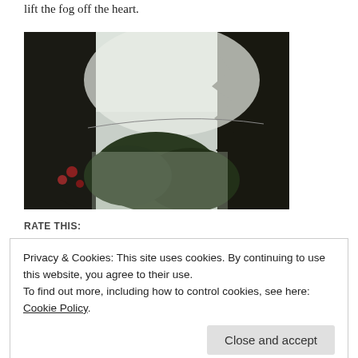lift the fog off the heart.
[Figure (photo): Outdoor photograph taken through foliage: dark silhouetted leaves and tree branches frame the left and right sides, with a pale overcast sky in the upper center and green trees visible in the lower center. The overall mood is dim and atmospheric.]
RATE THIS:
Privacy & Cookies: This site uses cookies. By continuing to use this website, you agree to their use.
To find out more, including how to control cookies, see here: Cookie Policy
Close and accept